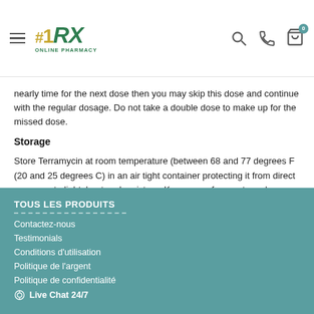#1RX ONLINE PHARMACY
nearly time for the next dose then you may skip this dose and continue with the regular dosage. Do not take a double dose to make up for the missed dose.
Storage
Store Terramycin at room temperature (between 68 and 77 degrees F (20 and 25 degrees C) in an air tight container protecting it from direct exposure to light, heat and moisture. Keep away from pets and children.
TOUS LES PRODUITS
Contactez-nous
Testimonials
Conditions d'utilisation
Politique de l'argent
Politique de confidentialité
Live Chat 24/7